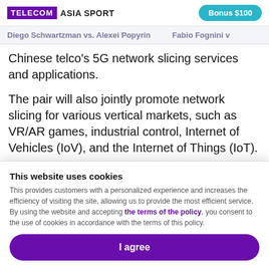TELECOM ASIA SPORT | Bonus $100
Diego Schwartzman vs. Alexei Popyrin   Fabio Fognini v
Chinese telco's 5G network slicing services and applications.
The pair will also jointly promote network slicing for various vertical markets, such as VR/AR games, industrial control, Internet of Vehicles (IoV), and the Internet of Things (IoT).
“Network slicing is a key native capability of 5G, which can
This website uses cookies
This provides customers with a personalized experience and increases the efficiency of visiting the site, allowing us to provide the most efficient service. By using the website and accepting the terms of the policy, you consent to the use of cookies in accordance with the terms of this policy.
I agree